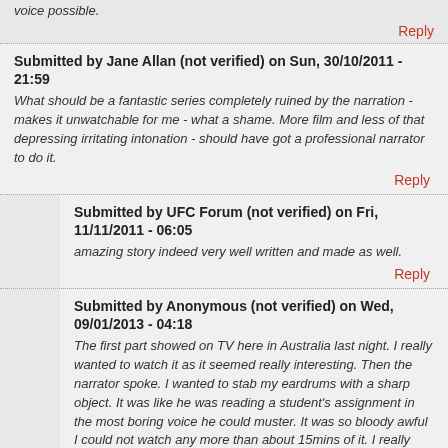voice possible.
Reply
Submitted by Jane Allan (not verified) on Sun, 30/10/2011 - 21:59
What should be a fantastic series completely ruined by the narration - makes it unwatchable for me - what a shame. More film and less of that depressing irritating intonation - should have got a professional narrator to do it.
Reply
Submitted by UFC Forum (not verified) on Fri, 11/11/2011 - 06:05
amazing story indeed very well written and made as well.
Reply
Submitted by Anonymous (not verified) on Wed, 09/01/2013 - 04:18
The first part showed on TV here in Australia last night. I really wanted to watch it as it seemed really interesting. Then the narrator spoke. I wanted to stab my eardrums with a sharp object. It was like he was reading a student's assignment in the most boring voice he could muster. It was so bloody awful I could not watch any more than about 15mins of it. I really wish there was a version with a different narrator because the subject is so interesting but there is no way in hell I could watch fifteen parts of this with that imbecile droning on.
Reply